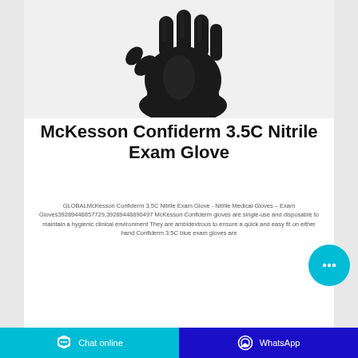[Figure (photo): Black nitrile exam glove shown palm-side up, single glove isolated on white background]
McKesson Confiderm 3.5C Nitrile Exam Glove
GLOBALMcKesson Confiderm 3.5C Nitrile Exam Glove - Nitrile Medical Gloves – Exam Gloves39289448857729,39289448890497 McKesson Confiderm gloves are single-use and disposable to maintain a hygienic clinical environment They are ambidextrous to ensure a quick and easy fit on either hand Confiderm 3.5C blue exam gloves are
[Figure (other): Cyan circular chat bubble button with three dots (ellipsis) icon]
Chat online
WhatsApp